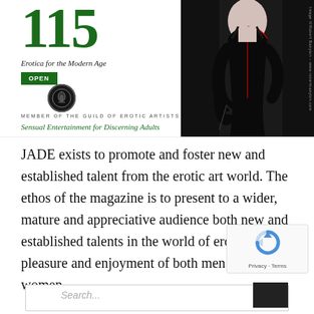115
Erotica for the Modern Age
OPEN
[Figure (logo): Guild of Erotic Artists circular logo/seal]
MEMBER OF THE GUILD OF EROTIC ARTISTS
Sensual Entertainment for Discerning Adults
[Figure (photo): Woman in black latex dress holding a whip, image credited to Robert Babylon - www.robertbabylon.com]
JADE exists to promote and foster new and established talent from the erotic art world. The ethos of the magazine is to present to a wider, mature and appreciative audience both new and established talents in the world of erotica for the pleasure and enjoyment of both men and women.
[Figure (logo): reCAPTCHA logo with Privacy - Terms text]
Search...